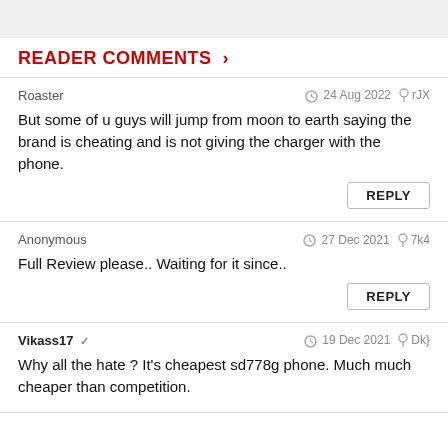READER COMMENTS >
Roaster  24 Aug 2022  rJX
But some of u guys will jump from moon to earth saying the brand is cheating and is not giving the charger with the phone.
Anonymous  27 Dec 2021  7k4
Full Review please.. Waiting for it since..
Vikass17  19 Dec 2021  Dk}
Why all the hate ? It's cheapest sd778g phone. Much much cheaper than competition.